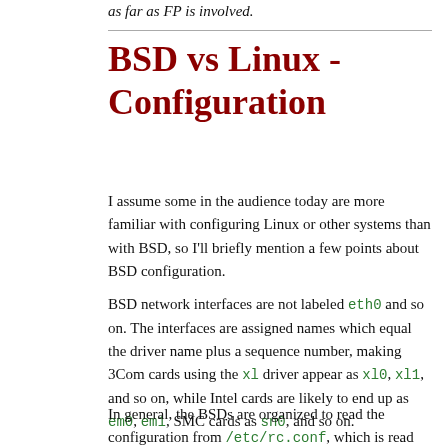as far as FP is involved.
BSD vs Linux - Configuration
I assume some in the audience today are more familiar with configuring Linux or other systems than with BSD, so I'll briefly mention a few points about BSD configuration.
BSD network interfaces are not labeled eth0 and so on. The interfaces are assigned names which equal the driver name plus a sequence number, making 3Com cards using the xl driver appear as xl0, xl1, and so on, while Intel cards are likely to end up as em0, em1, SMC cards as sn0, and so on.
In general, the BSDs are organized to read the configuration from /etc/rc.conf, which is read by the /etc/rc script at startup. OpenBSD recommends using /etc/rc.conf.local for local customizations, since rc.conf contains the default values, while FreeBSD